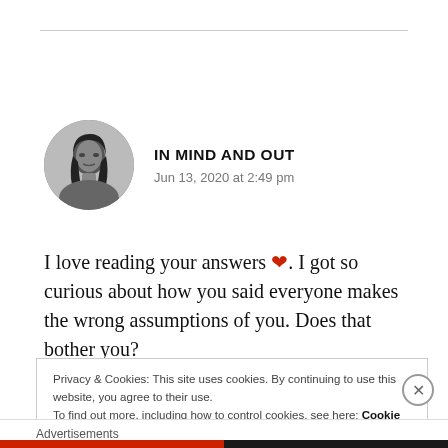[Figure (photo): Circular avatar photo of a woman with dark hair, black and white portrait]
IN MIND AND OUT
Jun 13, 2020 at 2:49 pm
I love reading your answers ❤. I got so curious about how you said everyone makes the wrong assumptions of you. Does that bother you?
Privacy & Cookies: This site uses cookies. By continuing to use this website, you agree to their use.
To find out more, including how to control cookies, see here: Cookie Policy
Close and accept
Advertisements